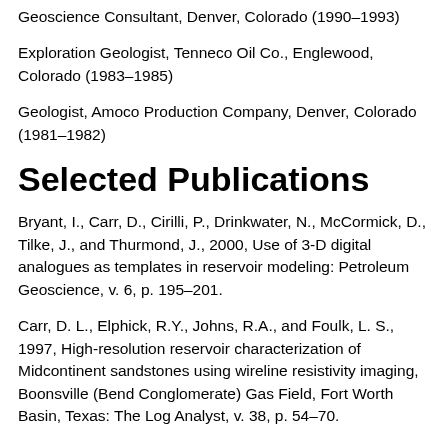Geoscience Consultant, Denver, Colorado (1990–1993)
Exploration Geologist, Tenneco Oil Co., Englewood, Colorado (1983–1985)
Geologist, Amoco Production Company, Denver, Colorado (1981–1982)
Selected Publications
Bryant, I., Carr, D., Cirilli, P., Drinkwater, N., McCormick, D., Tilke, J., and Thurmond, J., 2000, Use of 3-D digital analogues as templates in reservoir modeling: Petroleum Geoscience, v. 6, p. 195–201.
Carr, D. L., Elphick, R.Y., Johns, R.A., and Foulk, L. S., 1997, High-resolution reservoir characterization of Midcontinent sandstones using wireline resistivity imaging, Boonsville (Bend Conglomerate) Gas Field, Fort Worth Basin, Texas: The Log Analyst, v. 38, p. 54–70.